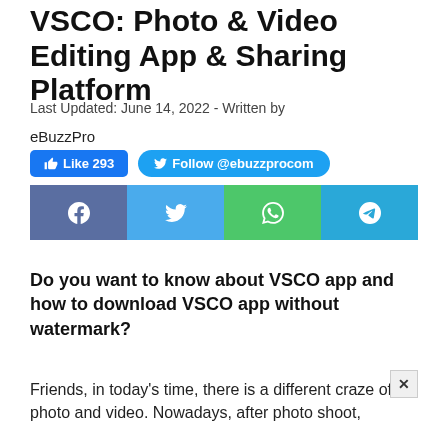VSCO: Photo & Video Editing App & Sharing Platform
Last Updated: June 14, 2022 - Written by
eBuzzPro
[Figure (infographic): Social media buttons: Like 293 (blue Facebook), Follow @ebuzzprocom (Twitter), and four share icons for Facebook, Twitter, WhatsApp, Telegram]
Do you want to know about VSCO app and how to download VSCO app without watermark?
Friends, in today's time, there is a different craze of photo and video. Nowadays, after photo shoot,